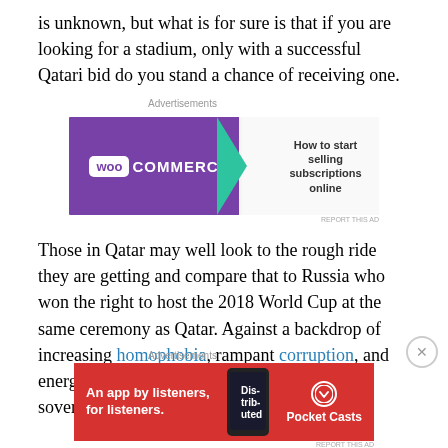is unknown, but what is for sure is that if you are looking for a stadium, only with a successful Qatari bid do you stand a chance of receiving one.
[Figure (other): WooCommerce advertisement banner: purple background on left with WooCommerce logo, right side with text 'How to start selling subscriptions online' and decorative shapes in orange, green, teal.]
Those in Qatar may well look to the rough ride they are getting and compare that to Russia who won the right to host the 2018 World Cup at the same ceremony as Qatar. Against a backdrop of increasing homophobia, rampant corruption, and energy extortion, Russia nigh-on invaded a sovereign state, annexed a section of that state
[Figure (other): Pocket Casts advertisement: red background with text 'An app by listeners, for listeners.' and Pocket Casts logo on right, phone image in center.]